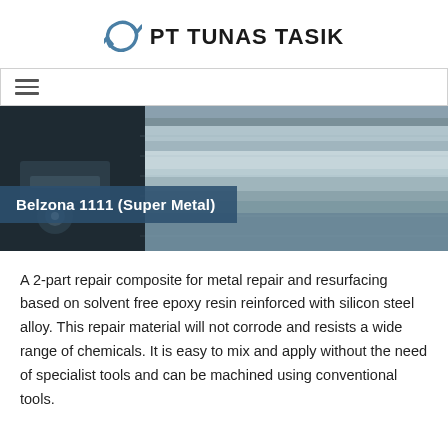PT TUNAS TASIK
[Figure (photo): Close-up photograph of large metal cylindrical rolls/drums, industrial steel rolling mill equipment, showing shiny metallic surfaces with a blue teal overlay banner]
Belzona 1111 (Super Metal)
A 2-part repair composite for metal repair and resurfacing based on solvent free epoxy resin reinforced with silicon steel alloy. This repair material will not corrode and resists a wide range of chemicals. It is easy to mix and apply without the need of specialist tools and can be machined using conventional tools.